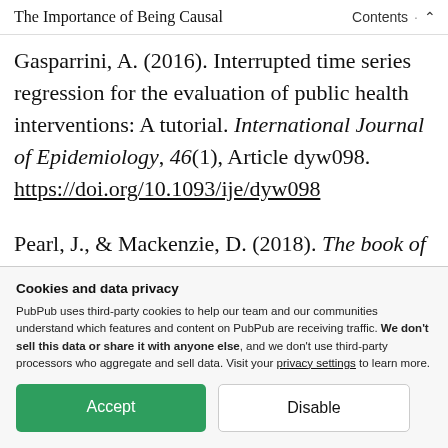The Importance of Being Causal   Contents  ∧
Gasparrini, A. (2016). Interrupted time series regression for the evaluation of public health interventions: A tutorial. International Journal of Epidemiology, 46(1), Article dyw098. https://doi.org/10.1093/ije/dyw098
Pearl, J., & Mackenzie, D. (2018). The book of
Cookies and data privacy
PubPub uses third-party cookies to help our team and our communities understand which features and content on PubPub are receiving traffic. We don't sell this data or share it with anyone else, and we don't use third-party processors who aggregate and sell data. Visit your privacy settings to learn more.